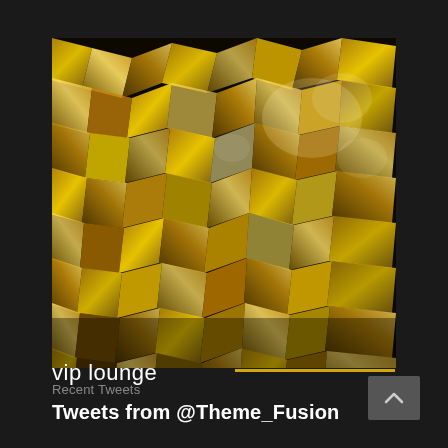[Figure (photo): A close-up photo of golden/amber colored geometric 3D blocks or tiles arranged in a wall-like pattern with light reflecting off their surfaces. Text overlay 'vip lounge' appears in white at the bottom left, with a horizontal gold line to the right.]
Recent Tweets
Tweets from @Theme_Fusion